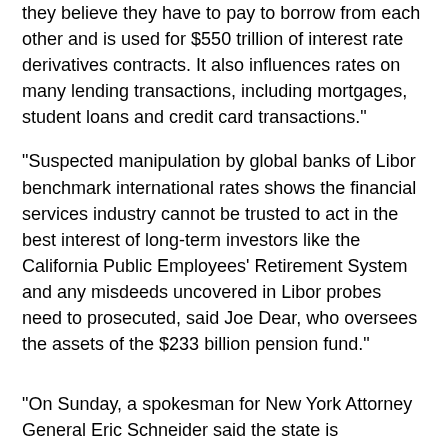they believe they have to pay to borrow from each other and is used for $550 trillion of interest rate derivatives contracts. It also influences rates on many lending transactions, including mortgages, student loans and credit card transactions."
"Suspected manipulation by global banks of Libor benchmark international rates shows the financial services industry cannot be trusted to act in the best interest of long-term investors like the California Public Employees' Retirement System and any misdeeds uncovered in Libor probes need to prosecuted, said Joe Dear, who oversees the assets of the $233 billion pension fund."
"On Sunday, a spokesman for New York Attorney General Eric Schneider said the state is investigating possible rigging of Libor, and other states, such as Florida, are also looking at possible legal actions. Connecticut's attorney general launched a probe six months ago."
"U.S. and British authorities last month fined Barclays Plc